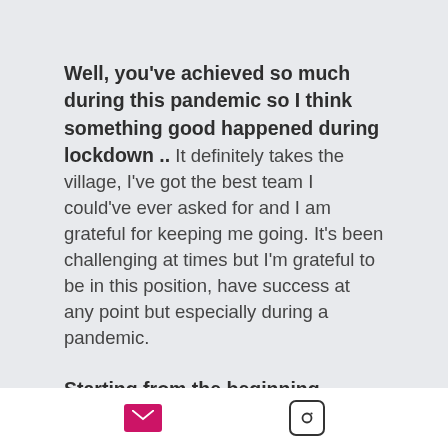Well, you've achieved so much during this pandemic so I think something good happened during lockdown .. It definitely takes the village, I've got the best team I could've ever asked for and I am grateful for keeping me going. It's been challenging at times but I'm grateful to be in this position, have success at any point but especially during a pandemic.
Starting from the beginning, you're born and bred in Australia, how did you